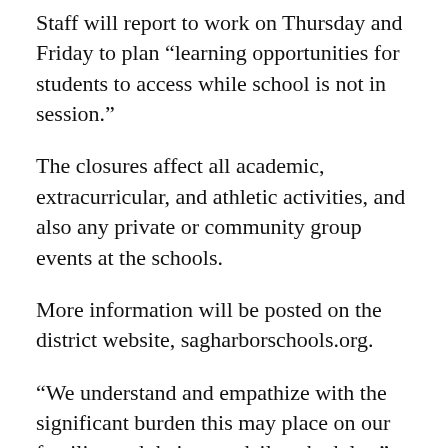Staff will report to work on Thursday and Friday to plan "learning opportunities for students to access while school is not in session."
The closures affect all academic, extracurricular, and athletic activities, and also any private or community group events at the schools.
More information will be posted on the district website, sagharborschools.org.
"We understand and empathize with the significant burden this may place on our families and their own daily schedules," the administrators wrote. "However, this decision has been made with what we believe is in the best interest of the health and safety of our school population and